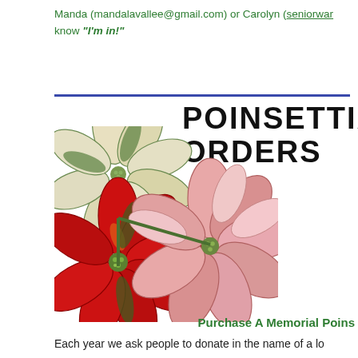Manda (mandalavallee@gmail.com) or Carolyn (seniorwar… know "I'm in!"
[Figure (illustration): Illustration of three poinsettia flowers (white/cream, pink, and red) with the text 'POINSETTIA ORDERS' in large black uppercase stylized lettering beside them]
Purchase A Memorial Poins…
Each year we ask people to donate in the name of a lo…